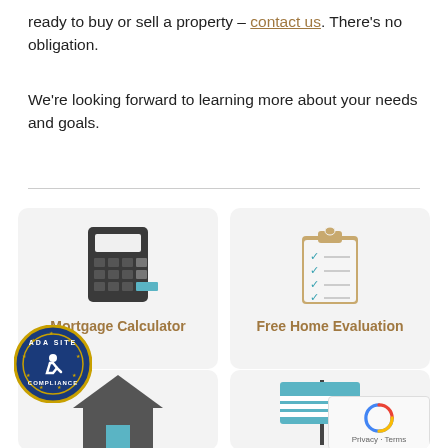ready to buy or sell a property – contact us. There's no obligation.
We're looking forward to learning more about your needs and goals.
[Figure (illustration): Card with calculator icon labeled 'Mortgage Calculator']
[Figure (illustration): Card with clipboard checklist icon labeled 'Free Home Evaluation']
[Figure (illustration): Card with house icon (partially visible)]
[Figure (illustration): Card with real estate sign icon (partially visible)]
[Figure (logo): ADA Site Compliance badge overlapping the second row of cards]
[Figure (other): Google reCAPTCHA badge with 'Privacy · Terms' text]